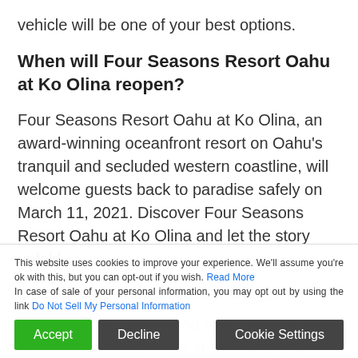vehicle will be one of your best options.
When will Four Seasons Resort Oahu at Ko Olina reopen?
Four Seasons Resort Oahu at Ko Olina, an award-winning oceanfront resort on Oahu's tranquil and secluded western coastline, will welcome guests back to paradise safely on March 11, 2021. Discover Four Seasons Resort Oahu at Ko Olina and let the story unfold.
Does Roy's deliver at Ko Olina?
Now, there's another food and park service, located off the 18th hole at Ko Olina Golf Club, apart from any other Ray's location in Hawaii. Aloha Kabobink, goes ahead
This website uses cookies to improve your experience. We'll assume you're ok with this, but you can opt-out if you wish. Read More
In case of sale of your personal information, you may opt out by using the link Do Not Sell My Personal Information